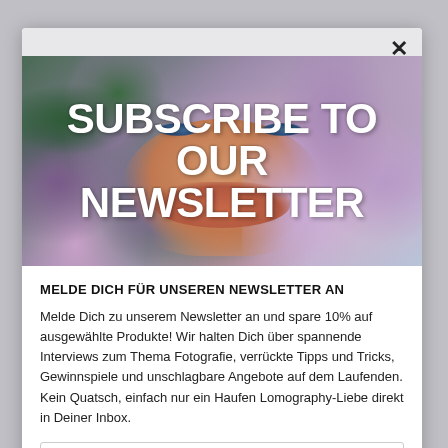[Figure (photo): Hero banner image of a face partially hidden among purple flowers and green leaves, with bold white text overlay reading SUBSCRIBE TO OUR NEWSLETTER]
MELDE DICH FÜR UNSEREN NEWSLETTER AN
Melde Dich zu unserem Newsletter an und spare 10% auf ausgewählte Produkte! Wir halten Dich über spannende Interviews zum Thema Fotografie, verrückte Tipps und Tricks, Gewinnspiele und unschlagbare Angebote auf dem Laufenden. Kein Quatsch, einfach nur ein Haufen Lomography-Liebe direkt in Deiner Inbox.
abc@example.com